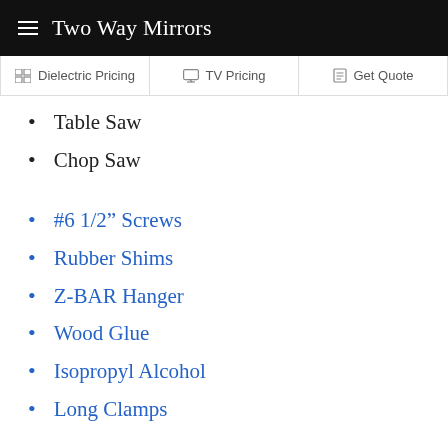Two Way Mirrors
| Dielectric Pricing | TV Pricing | Get Quote |
| --- | --- | --- |
Table Saw
Chop Saw
#6 1/2″ Screws
Rubber Shims
Z-BAR Hanger
Wood Glue
Isopropyl Alcohol
Long Clamps